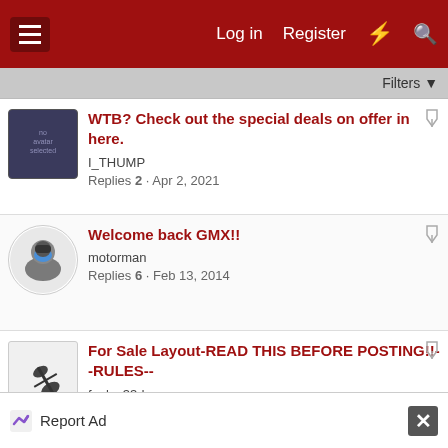Log in  Register
Filters
WTB? Check out the special deals on offer in here. | I_THUMP | Replies 2 · Apr 2, 2021
Welcome back GMX!! | motorman | Replies 6 · Feb 13, 2014
For Sale Layout-READ THIS BEFORE POSTING!!--RULES-- | foolsp33d | Replies 22 · Oct 9, 2013
Report Ad